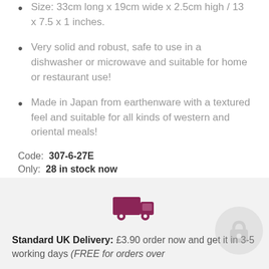Size: 33cm long x 19cm wide x 2.5cm high / 13 x 7.5 x 1 inches.
Very solid and robust, safe to use in a dishwasher or microwave and suitable for home or restaurant use!
Made in Japan from earthenware with a textured feel and suitable for all kinds of western and oriental meals!
Code: 307-6-27E
Only: 28 in stock now
Gift Wrapping :
No Thanks
Standard UK Delivery: £3.90 order now and get it in 3-5 working days (FREE for orders over